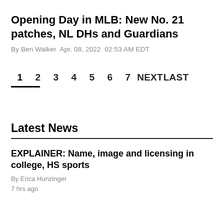Opening Day in MLB: New No. 21 patches, NL DHs and Guardians
By Ben Walker Apr. 08, 2022 02:53 AM EDT
1  2  3  4  5  6  7  NEXT  LAST
Latest News
EXPLAINER: Name, image and licensing in college, HS sports
By Erica Hunzinger
7 hrs ago